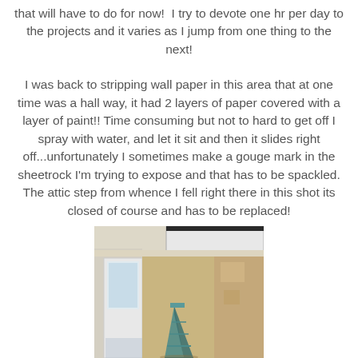that will have to do for now!  I try to devote one hr per day to the projects and it varies as I jump from one thing to the next!
I was back to stripping wall paper in this area that at one time was a hall way, it had 2 layers of paper covered with a layer of paint!! Time consuming but not to hard to get off I spray with water, and let it sit and then it slides right off...unfortunately I sometimes make a gouge mark in the sheetrock I'm trying to expose and that has to be spackled. The attic step from whence I fell right there in this shot its closed of course and has to be replaced!
[Figure (photo): Interior hallway photo showing walls with wallpaper being stripped, exposed sheetrock/drywall with tan/beige coloring, white door frame visible on left, a stepladder in the center-bottom area, and an attic access panel visible at the top.]